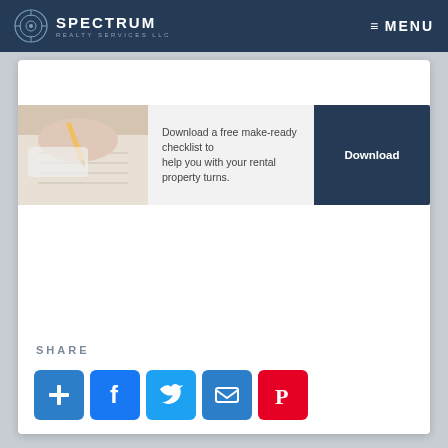SPECTRUM REALTY SERVICES LLC  ≡ MENU
[Figure (illustration): Hand writing on paper with a pencil, part of a download checklist banner]
Download a free make-ready checklist to help you with your rental property turns.
Download
SHARE
[Figure (infographic): Row of five social share icon buttons: Add (blue +), Facebook (blue f), Twitter (blue bird), Email (blue envelope), Pinterest (red P)]